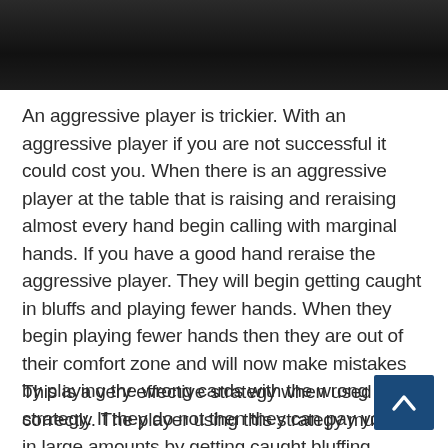[Figure (photo): Dark photograph at the top of the page, appears to show a dimly lit scene]
An aggressive player is trickier. With an aggressive player if you are not successful it could cost you. When there is an aggressive player at the table that is raising and reraising almost every hand begin calling with marginal hands. If you have a good hand reraise the aggressive player. They will begin getting caught in bluffs and playing fewer hands. When they begin playing fewer hands then they are out of their comfort zone and will now make mistakes by playing the wrong cards with the wrong strategy. If they do not then they can pay you off in large amounts by getting caught bluffing.
This is a very effective strategy when used correctly. The player using this strategy must be